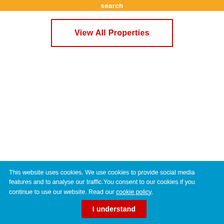search
View All Properties
This website uses cookies. We use cookies to provide social media features and to analyse our traffic. You consent to our cookies if you continue to use our website. Read our cookie policy. I understand